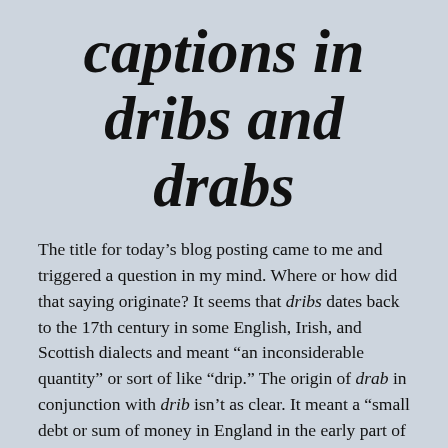captions in dribs and drabs
The title for today's blog posting came to me and triggered a question in my mind. Where or how did that saying originate? It seems that dribs dates back to the 17th century in some English, Irish, and Scottish dialects and meant “an inconsiderable quantity” or sort of like “drip.” The origin of drab in conjunction with drib isn’t as clear. It meant a “small debt or sum of money in England in the early part of the 19th century. I must admit, though, that I thought it was “drips and drabs” until I looked it up a few minutes ago. The joke is on me! It just goes to show that sometimes I think I